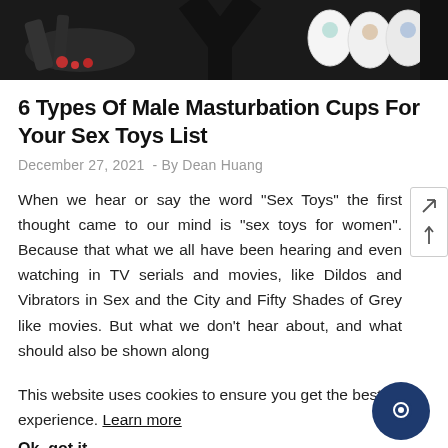[Figure (photo): Partial product images at top of page showing sex toy products on dark background]
6 Types Of Male Masturbation Cups For Your Sex Toys List
December 27, 2021  -  By Dean Huang
When we hear or say the word “Sex Toys” the first thought came to our mind is “sex toys for women”. Because that what we all have been hearing and even watching in TV serials and movies, like Dildos and Vibrators in Sex and the City and Fifty Shades of Grey like movies. But what we don’t hear about, and what should also be shown along
This website uses cookies to ensure you get the best experience. Learn more
Ok, got it